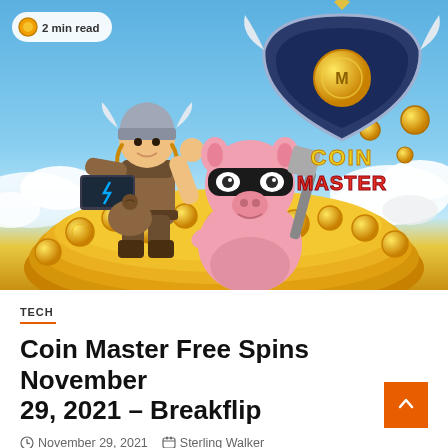[Figure (illustration): Coin Master game promotional image showing a Viking warrior character with a laptop and a pink pig character with a shovel and robber mask, both sitting on a pile of gold coins against a blue sky background. A 'Coin Master' logo shield appears in the upper right. A '2 min read' badge is in the upper left.]
TECH
Coin Master Free Spins November 29, 2021 – Breakflip
November 29, 2021   Sterling Walker